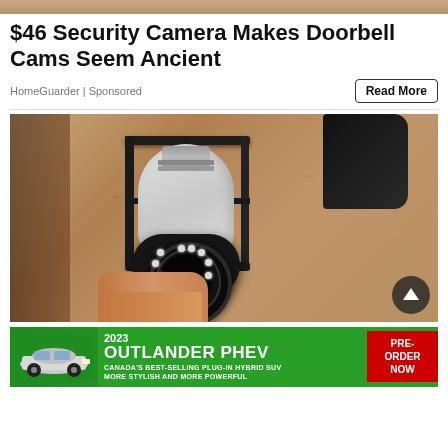[Figure (photo): Top portion of a security camera lantern photo (cropped at top of page)]
$46 Security Camera Makes Doorbell Cams Seem Ancient
HomeGuarder | Sponsored
Read More
[Figure (photo): Photo of a white bulb-style security camera installed in a black lantern fixture mounted on a textured stucco wall, being held by a hand. Scroll-to-top button visible in bottom right corner.]
[Figure (photo): Advertisement banner for 2023 Outlander PHEV - Canada's best-selling plug-in hybrid SUV, more stylish and more powerful. Pre-order now button shown in red.]